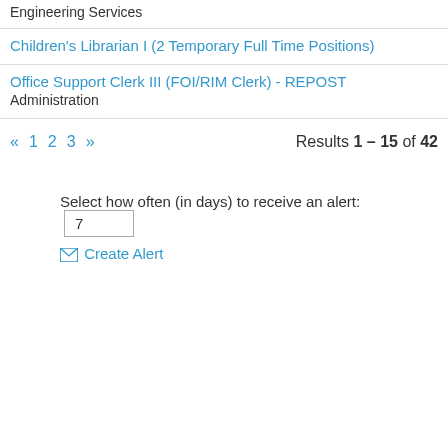Engineering Services
Children's Librarian I (2 Temporary Full Time Positions)
Office Support Clerk III (FOI/RIM Clerk) - REPOST
Administration
« 1 2 3 »    Results 1 – 15 of 42
Select how often (in days) to receive an alert: 7
✉ Create Alert